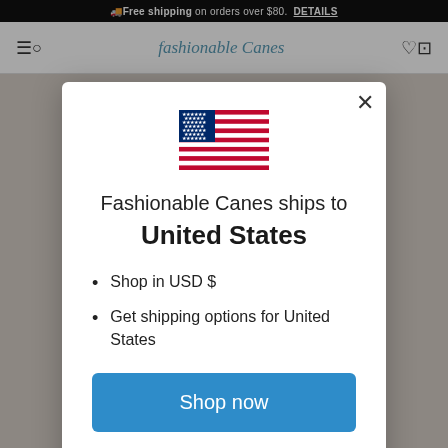Free shipping on orders over $80. DETAILS
[Figure (screenshot): Website navigation bar with hamburger menu, search icon, Fashionable Canes logo, heart icon, and cart icon]
[Figure (illustration): US flag icon displayed at top center of modal]
Fashionable Canes ships to United States
Shop in USD $
Get shipping options for United States
Shop now
Change shipping country